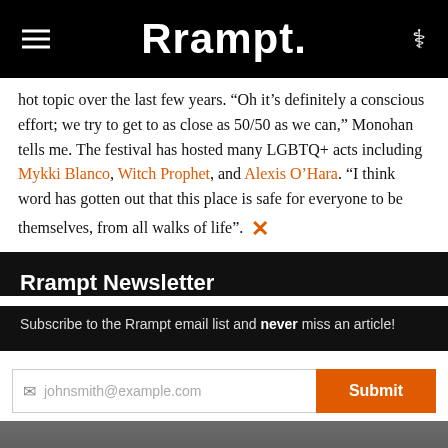Rrampt.
hot topic over the last few years. “Oh it’s definitely a conscious effort; we try to get to as close as 50/50 as we can,” Monohan tells me. The festival has hosted many LGBTQ+ acts including Mykki Blanco, Witch Prophet, and Alexis O’Hara. “I think word has gotten out that this place is safe for everyone to be themselves, from all walks of life”. ×
Rrampt Newsletter
Subscribe to the Rrampt email list and never miss an article!
johnsmith@example.com
Submit
[Figure (photo): Photo of a person wearing sunglasses and a fur coat, with overlay text: Never see this message again.]